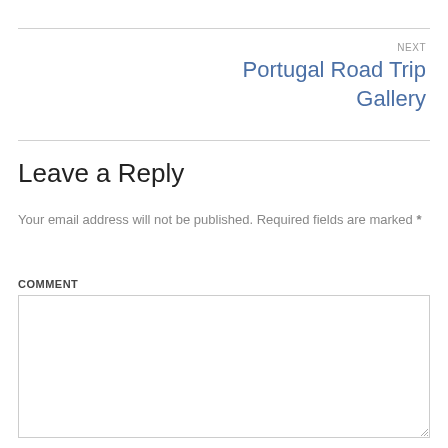NEXT
Portugal Road Trip Gallery
Leave a Reply
Your email address will not be published. Required fields are marked *
COMMENT